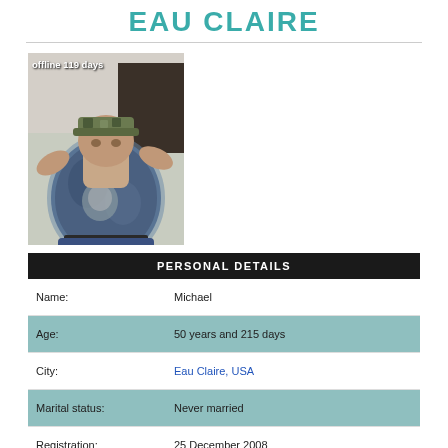EAU CLAIRE
[Figure (photo): Profile photo of a person wearing a camouflage hat and a blue tie-dye t-shirt with a tiger graphic, with an overlay text reading 'offline 119 days']
| Field | Value |
| --- | --- |
| Name: | Michael |
| Age: | 50 years and 215 days |
| City: | Eau Claire, USA |
| Marital status: | Never married |
| Registration: | 25 December 2008 |